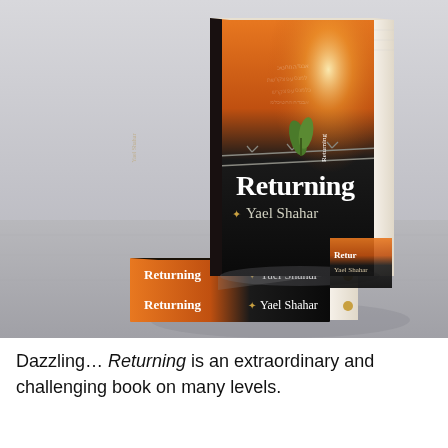[Figure (photo): Photo of three copies of the book 'Returning' by Yael Shahar. The book cover features a dark background with barbed wire and a green plant, and a fiery orange sky with Hebrew text. One book stands upright showing the full cover with the title 'Returning' and author name 'Yael Shahar', while two books lie flat in front showing their spines. All spines read 'Returning' and 'Yael Shahar'. The books are arranged on a wooden surface.]
Dazzling… Returning is an extraordinary and challenging book on many levels.